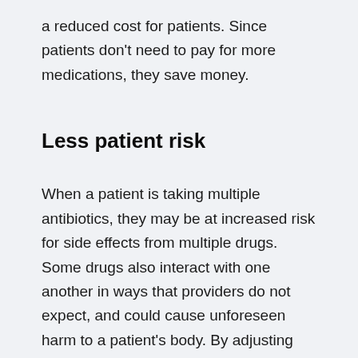a reduced cost for patients. Since patients don't need to pay for more medications, they save money.
Less patient risk
When a patient is taking multiple antibiotics, they may be at increased risk for side effects from multiple drugs. Some drugs also interact with one another in ways that providers do not expect, and could cause unforeseen harm to a patient's body. By adjusting the use of antibiotics, providers can reduce these risks.
Enforcement and